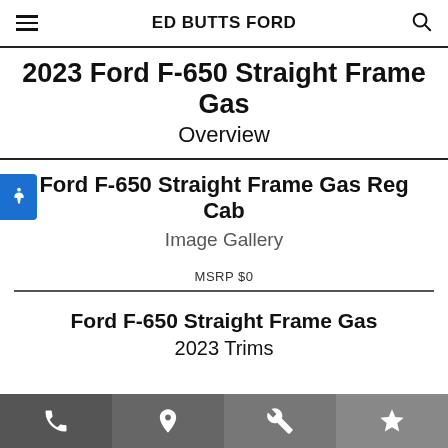ED BUTTS FORD
2023 Ford F-650 Straight Frame Gas
Overview
Ford F-650 Straight Frame Gas Reg Cab
Image Gallery
MSRP $0
Ford F-650 Straight Frame Gas
2023 Trims